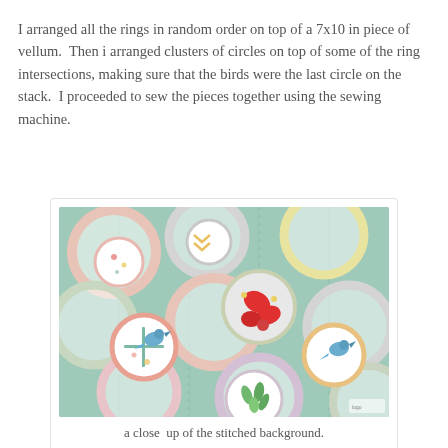I arranged all the rings in random order on top of a 7x10 in piece of vellum. Then i arranged clusters of circles on top of some of the ring intersections, making sure that the birds were the last circle on the stack. I proceeded to sew the pieces together using the sewing machine.
[Figure (photo): A close-up photo of decorative paper rings and circles arranged on a mint green background. The rings are overlapping each other, with smaller circular pieces stacked on top at intersections. The circles feature various colorful patterns including birds, chevrons, florals, and abstract designs in pink, red, blue, green, and yellow.]
a close  up of the stitched background.